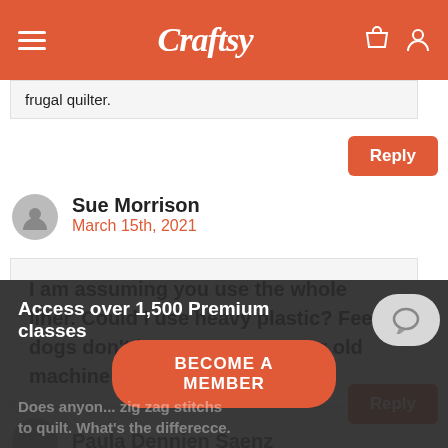Craftsy
frugal quilter.
Reply
Sue Morrison
March 15th, 2021
I am assuming you use the whole liner. Could I use heavy plastic? Feed dogs don’t lower on my 10 year old machine
Reply
Paula Dennien Saenz
Access over 1,500 Premium classes
BECOME A MEMBER
Does anyon... zig zag stitchs to quilt. What’s the differecce.